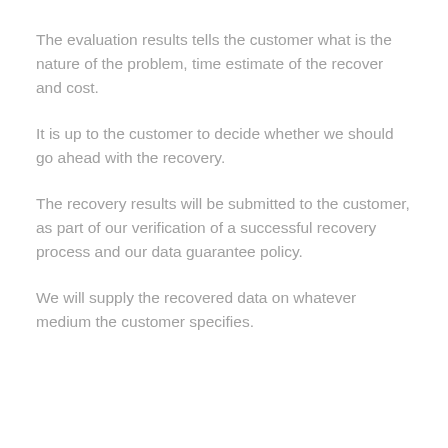The evaluation results tells the customer what is the nature of the problem, time estimate of the recover and cost.
It is up to the customer to decide whether we should go ahead with the recovery.
The recovery results will be submitted to the customer, as part of our verification of a successful recovery process and our data guarantee policy.
We will supply the recovered data on whatever medium the customer specifies.